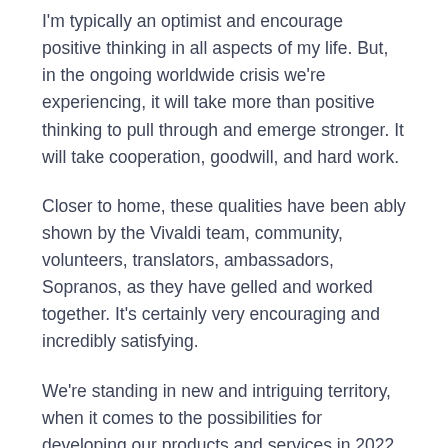I'm typically an optimist and encourage positive thinking in all aspects of my life. But, in the ongoing worldwide crisis we're experiencing, it will take more than positive thinking to pull through and emerge stronger. It will take cooperation, goodwill, and hard work.
Closer to home, these qualities have been ably shown by the Vivaldi team, community, volunteers, translators, ambassadors, Sopranos, as they have gelled and worked together. It's certainly very encouraging and incredibly satisfying.
We're standing in new and intriguing territory, when it comes to the possibilities for developing our products and services in 2022 and beyond. Before we welcome 2022, let's take a moment to reflect on all that we have done and shared together, reaching new heights with your